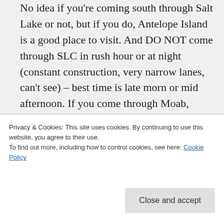No idea if you're coming south through Salt Lake or not, but if you do, Antelope Island is a good place to visit. And DO NOT come through SLC in rush hour or at night (constant construction, very narrow lanes, can't see) – best time is late morn or mid afternoon. If you come through Moab, consider yourself as having a place to stay and get out of
now moderating a bit.
Privacy & Cookies: This site uses cookies. By continuing to use this website, you agree to their use.
To find out more, including how to control cookies, see here: Cookie Policy